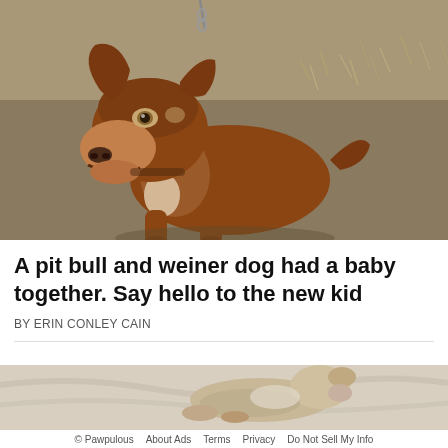[Figure (photo): A brown/reddish pit bull dog on a chain, sitting on dry ground with grass/dirt background, looking sideways at the camera with a slightly quizzical expression.]
A pit bull and weiner dog had a baby together. Say hello to the new kid
BY ERIN CONLEY CAIN
[Figure (photo): A small newborn puppy lying on a white blanket/sheet, partially visible, appearing to be a mixed breed puppy.]
© Pawpulous   About Ads   Terms   Privacy   Do Not Sell My Info